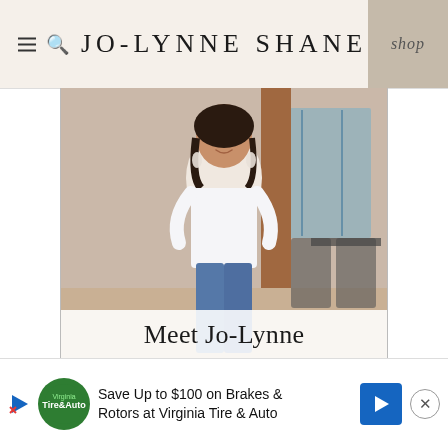JO-LYNNE SHANE
[Figure (photo): Woman with dark shoulder-length hair wearing a white pocket t-shirt and blue jeans, smiling, standing outdoors in front of a brick building with large windows. Outdoor cafe chairs visible in background.]
Meet Jo-Lynne
[Figure (infographic): Advertisement banner: Save Up to $100 on Brakes & Rotors at Virginia Tire & Auto]